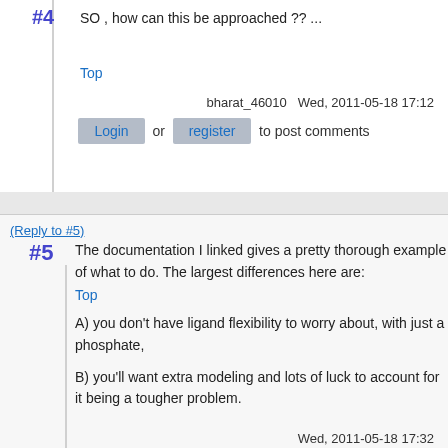SO , how can this be approached ?? ...
Top
bharat_46010   Wed, 2011-05-18 17:12
Login or register to post comments
(Reply to #5)
#5
The documentation I linked gives a pretty thorough example of what to do. The largest differences here are:
Top
A) you don't have ligand flexibility to worry about, with just a phosphate,
B) you'll want extra modeling and lots of luck to account for it being a tougher problem.
Wed, 2011-05-18 17:32